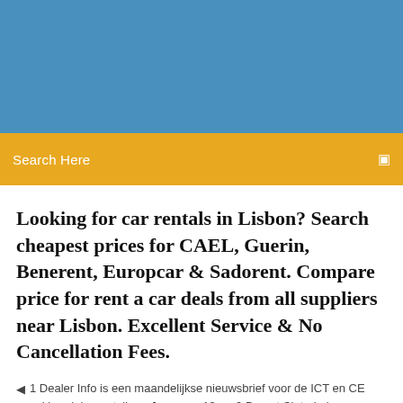[Figure (other): Blue header background image area]
Search Here
Looking for car rentals in Lisbon? Search cheapest prices for CAEL, Guerin, Benerent, Europcar & Sadorent. Compare price for rent a car deals from all suppliers near Lisbon. Excellent Service & No Cancellation Fees.
1 Dealer Info is een maandelijkse nieuwsbrief voor de ICT en CE vakhandel en retailers. Jaargang 19, nr 9 Brengt Sinterk |